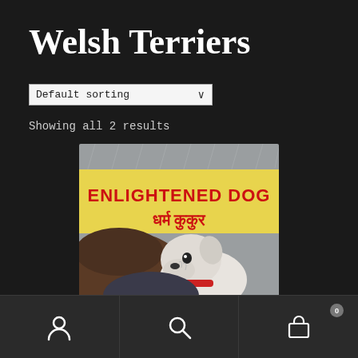Welsh Terriers
Default sorting ∨
Showing all 2 results
[Figure (illustration): Product image showing a painting of a Welsh Terrier dog with red collar in the rain, with text 'ENLIGHTENED DOG' in English and 'धर्म कुकुर' in Nepali/Devanagari script on a yellow background]
Bottom navigation bar with user account icon, search icon, and cart icon showing 0 items